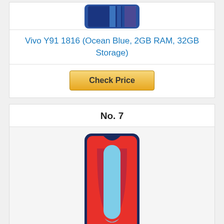[Figure (photo): Top portion of a Vivo Y91 smartphone showing the back/front with blue and black color scheme, partially visible at top of page]
Vivo Y91 1816 (Ocean Blue, 2GB RAM, 32GB Storage)
Check Price
No. 7
[Figure (photo): Vivo U10 or similar smartphone illustration showing front face with red and light blue color scheme, notch display, dark blue frame/body]